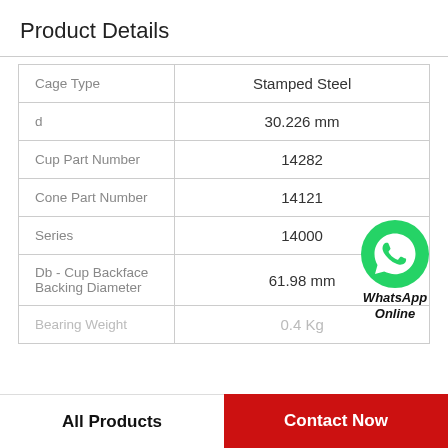Product Details
| Cage Type | Stamped Steel |
| d | 30.226 mm |
| Cup Part Number | 14282 |
| Cone Part Number | 14121 |
| Series | 14000 |
| Db - Cup Backface Backing Diameter | 61.98 mm |
| Bearing Weight | 0.4 Kg |
[Figure (logo): WhatsApp Online green bubble icon with text 'WhatsApp Online']
All Products    Contact Now